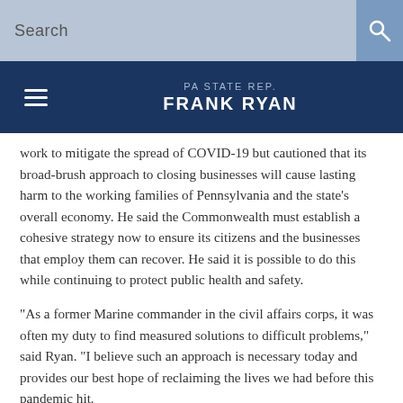Search
PA STATE REP. FRANK RYAN
work to mitigate the spread of COVID-19 but cautioned that its broad-brush approach to closing businesses will cause lasting harm to the working families of Pennsylvania and the state's overall economy. He said the Commonwealth must establish a cohesive strategy now to ensure its citizens and the businesses that employ them can recover. He said it is possible to do this while continuing to protect public health and safety.
“As a former Marine commander in the civil affairs corps, it was often my duty to find measured solutions to difficult problems,” said Ryan. “I believe such an approach is necessary today and provides our best hope of reclaiming the lives we had before this pandemic hit.
“The many businesses deemed by the administration to be non-essential or not life-sustaining and the hundreds of thousands of people they employed, would find it neither reckless nor irresponsible to permit more of our small businesses to reopen with proper safety and sanitary protocols. Most would be happy to do whatever it takes.
“People able to establish COVID-19 Safety...